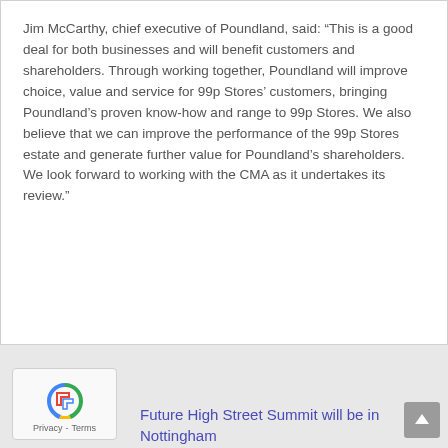Jim McCarthy, chief executive of Poundland, said: “This is a good deal for both businesses and will benefit customers and shareholders. Through working together, Poundland will improve choice, value and service for 99p Stores’ customers, bringing Poundland’s proven know-how and range to 99p Stores. We also believe that we can improve the performance of the 99p Stores estate and generate further value for Poundland’s shareholders. We look forward to working with the CMA as it undertakes its review.”
Future High Street Summit will be in Nottingham